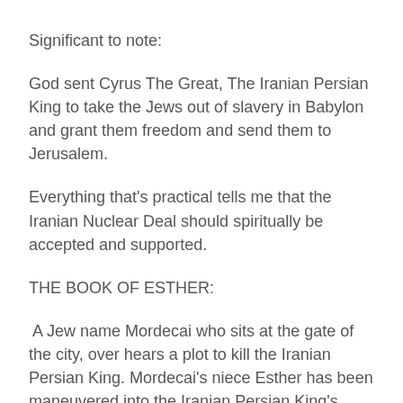Significant to note:
God sent Cyrus The Great, The Iranian Persian King to take the Jews out of slavery in Babylon and grant them freedom and send them to Jerusalem.
Everything that's practical tells me that the Iranian Nuclear Deal should spiritually be accepted and supported.
THE BOOK OF ESTHER:
A Jew name Mordecai who sits at the gate of the city, over hears a plot to kill the Iranian Persian King. Mordecai's niece Esther has been maneuvered into the Iranian Persian King's concubine